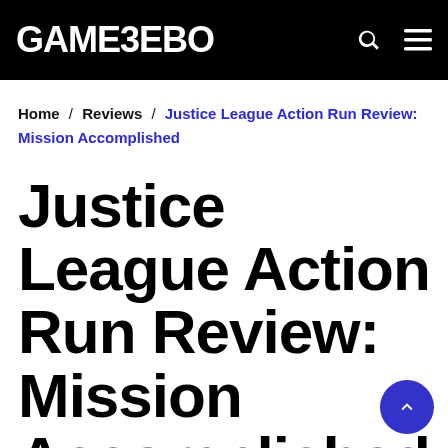GAMEZEBO
Home / Reviews / Justice League Action Run Review: Mission Accomplished
Justice League Action Run Review: Mission Accomplished
By Nik Ives-Allison | 5 years ago